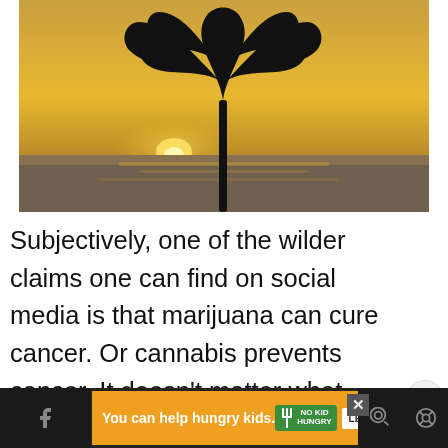[Figure (photo): Silhouette of a cannabis/marijuana leaf against a warm golden sunset sky with the sun visible near the horizon, over water. Dark dramatic silhouette centered in frame.]
Subjectively, one of the wilder claims one can find on social media is that marijuana can cure cancer. Or cannabis prevents cancer. It doesn't matter what form – smoked
[Figure (infographic): Advertisement banner: orange background with text 'You can help hungry kids.' with No Kid Hungry fork logo and 'LEARN HOW' button. Close button (X) visible. Navigation bar at bottom of screen with social/share icons.]